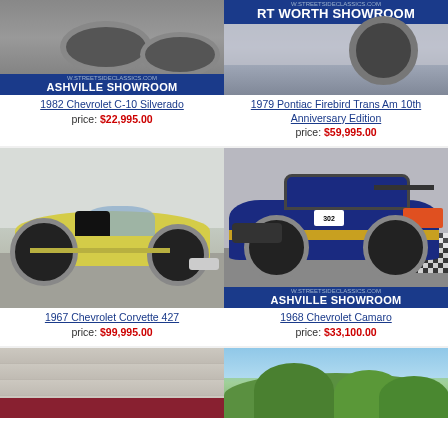[Figure (photo): Partial photo of a classic truck (1982 Chevrolet C-10 Silverado) with Nashville Showroom banner, streetsideclassics.com]
1982 Chevrolet C-10 Silverado
price: $22,995.00
[Figure (photo): Partial photo of a classic car (1979 Pontiac Firebird Trans Am 10th Anniversary Edition) with Fort Worth Showroom banner, streetsideclassics.com]
1979 Pontiac Firebird Trans Am 10th Anniversary Edition
price: $59,995.00
[Figure (photo): Yellow 1967 Chevrolet Corvette 427 convertible in parking lot]
1967 Chevrolet Corvette 427
price: $99,995.00
[Figure (photo): Blue 1968 Chevrolet Camaro race car with Nashville Showroom banner, streetsideclassics.com]
1968 Chevrolet Camaro
price: $33,100.00
[Figure (photo): Partial photo of a classic car (bottom row left), concrete wall background]
[Figure (photo): Partial photo of a classic car (bottom row right), trees and blue sky background]